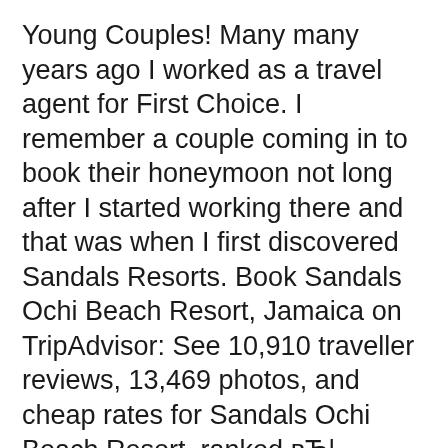Young Couples! Many many years ago I worked as a travel agent for First Choice. I remember a couple coming in to book their honeymoon not long after I started working there and that was when I first discovered Sandals Resorts. Book Sandals Ochi Beach Resort, Jamaica on TripAdvisor: See 10,910 traveller reviews, 13,469 photos, and cheap rates for Sandals Ochi Beach Resort, ranked вЂ¦
It helps that when Sandals converted its Grande Riviera Beach & Villa Golf Resort into Ochi it invested more than $60 million. The Great House lobby-restaurants complex and the Butler Village, where I stayed, lie across the